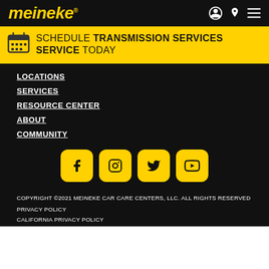meineke
SCHEDULE TRANSMISSION SERVICES SERVICE TODAY
LOCATIONS
SERVICES
RESOURCE CENTER
ABOUT
COMMUNITY
[Figure (logo): Social media icons: Facebook, Instagram, Twitter, YouTube — yellow rounded square buttons on black background]
COPYRIGHT ©2021 MEINEKE CAR CARE CENTERS, LLC. ALL RIGHTS RESERVED
PRIVACY POLICY
CALIFORNIA PRIVACY POLICY